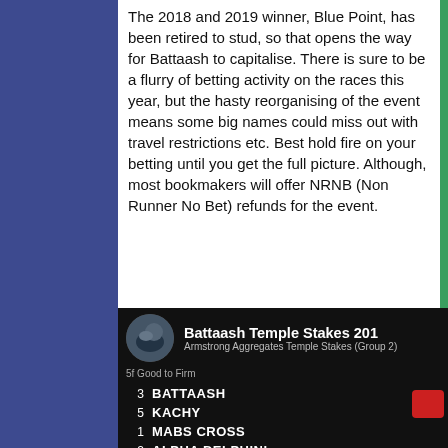The 2018 and 2019 winner, Blue Point, has been retired to stud, so that opens the way for Battaash to capitalise. There is sure to be a flurry of betting activity on the races this year, but the hasty reorganising of the event means some big names could miss out with travel restrictions etc. Best hold fire on your betting until you get the full picture. Although, most bookmakers will offer NRNB (Non Runner No Bet) refunds for the event.
[Figure (screenshot): Video thumbnail or screenshot showing Battaash Temple Stakes race result screen with a dark background, showing horse race positions: 3 BATTAASH, 5 KACHY, 1 MABS CROSS, 2 ALPHA DELPHINI, 4 CASPIAN PRINCE, 6 POCKET DYNAMO. Armstrong Aggregates Temple Stakes (Group 2), 5f Good to Firm.]